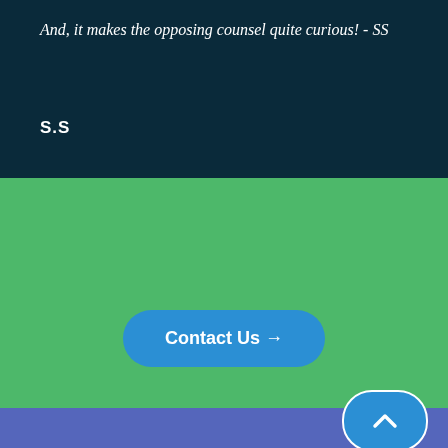And, it makes the opposing counsel quite curious! - SS
S.S